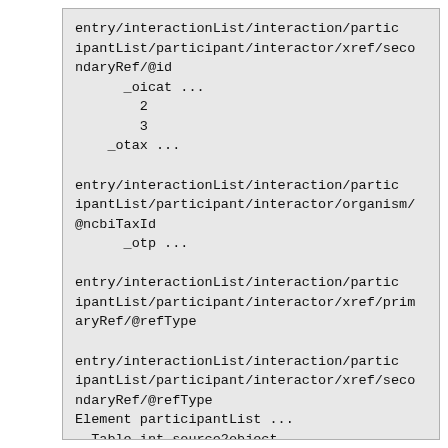entry/interactionList/interaction/participantList/participant/interactor/xref/secondaryRef/@id
    _oicat ...
      2
      3
    _otax ...

entry/interactionList/interaction/participantList/participant/interactor/organism/@ncbiTaxId
    _otp ...

entry/interactionList/interaction/participantList/participant/interactor/xref/primaryRef/@refType

entry/interactionList/interaction/participantList/participant/interactor/xref/secondaryRef/@refType
Element participantList ...
  Table int source2object ...